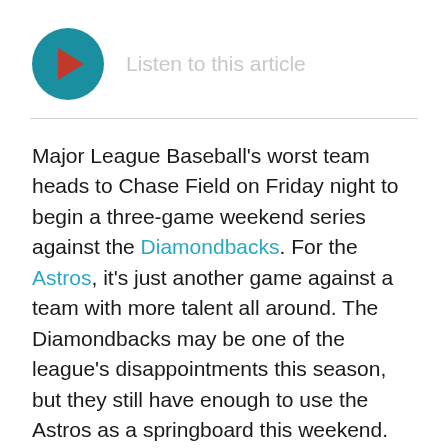[Figure (other): Audio player button — teal circular play button with red triangle icon, labeled 'Listen to this article']
Major League Baseball's worst team heads to Chase Field on Friday night to begin a three-game weekend series against the Diamondbacks. For the Astros, it's just another game against a team with more talent all around. The Diamondbacks may be one of the league's disappointments this season, but they still have enough to use the Astros as a springboard this weekend.